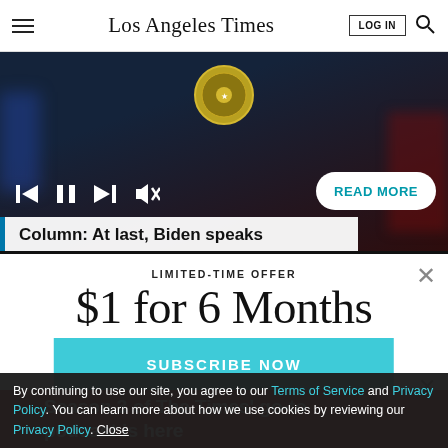Los Angeles Times — LOG IN | Search
[Figure (screenshot): Video player showing a dark scene with Presidential seal, playback controls (skip back, pause, skip forward, mute), READ MORE button, and caption bar reading 'Column: At last, Biden speaks']
LIMITED-TIME OFFER
$1 for 6 Months
SUBSCRIBE NOW
Season 3 of The Times' go-to podcast is here
By continuing to use our site, you agree to our Terms of Service and Privacy Policy. You can learn more about how we use cookies by reviewing our Privacy Policy. Close